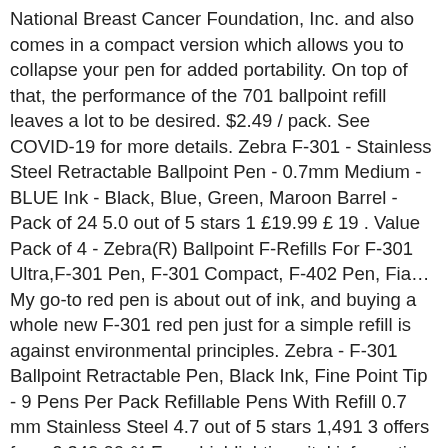National Breast Cancer Foundation, Inc. and also comes in a compact version which allows you to collapse your pen for added portability. On top of that, the performance of the 701 ballpoint refill leaves a lot to be desired. $2.49 / pack. See COVID-19 for more details. Zebra F-301 - Stainless Steel Retractable Ballpoint Pen - 0.7mm Medium - BLUE Ink - Black, Blue, Green, Maroon Barrel - Pack of 24 5.0 out of 5 stars 1 £19.99 £ 19 . Value Pack of 4 - Zebra(R) Ballpoint F-Refills For F-301 Ultra,F-301 Pen, F-301 Compact, F-402 Pen, Fiâ¦ My go-to red pen is about out of ink, and buying a whole new F-301 red pen just for a simple refill is against environmental principles. Zebra - F-301 Ballpoint Retractable Pen, Black Ink, Fine Point Tip - 9 Pens Per Pack Refillable Pens With Refill 0.7 mm Stainless Steel 4.7 out of 5 stars 1,491 3 offers from 2 349,00 â¹ From highlighting vital information to bullet journaling and doodling, highlighters are proven to be a versatile tool that offer translucent ink in a multitude of colors. They run about $6 for a two pack and you can pick them up just about anywhere. Zebra pen refills for several pen models.